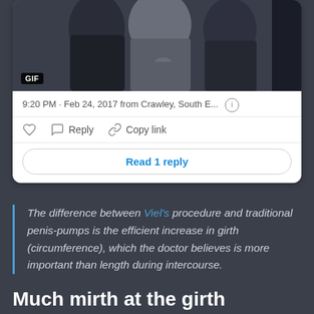[Figure (screenshot): Screenshot of a tweet card showing a GIF image of people, timestamp '9:20 PM · Feb 24, 2017 from Crawley, South E...' with like, reply, copy link actions and 'Read 1 reply' button]
The difference between Viel's procedure and traditional penis-pumps is the efficient increase in girth (circumference), which the doctor believes is more important than length during intercourse.
Much mirth at the girth